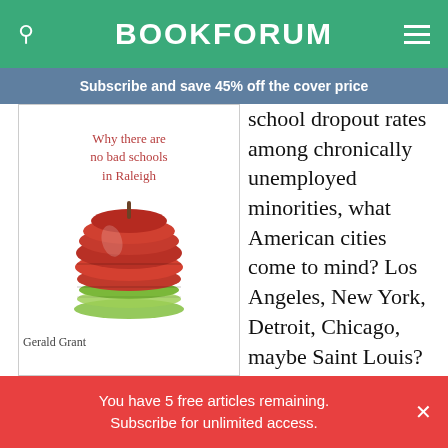BOOKFORUM
Subscribe and save 45% off the cover price
[Figure (illustration): Book cover: 'Why there are no bad schools in Raleigh' by Gerald Grant, featuring a sliced apple illustration]
school dropout rates among chronically unemployed minorities, what American cities come to mind? Los Angeles, New York, Detroit, Chicago, maybe Saint Louis? Yet recent studies show that smaller cities, particularly in the Northeast and Midwest, are plagued by the same problems, indeed, to a more degree. Small to
You have 5 free articles remaining. Subscribe for unlimited access.